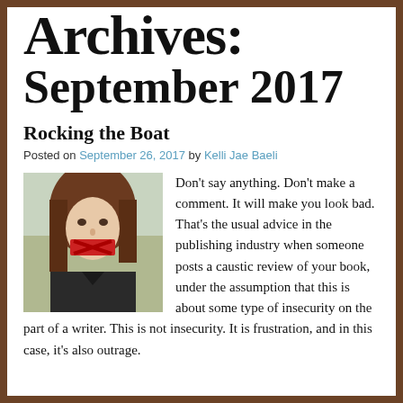Archives: September 2017
Rocking the Boat
Posted on September 26, 2017 by Kelli Jae Baeli
[Figure (photo): Woman with red X tape over her mouth]
Don't say anything. Don't make a comment. It will make you look bad. That's the usual advice in the publishing industry when someone posts a caustic review of your book, under the assumption that this is about some type of insecurity on the part of a writer. This is not insecurity. It is frustration, and in this case, it's also outrage.